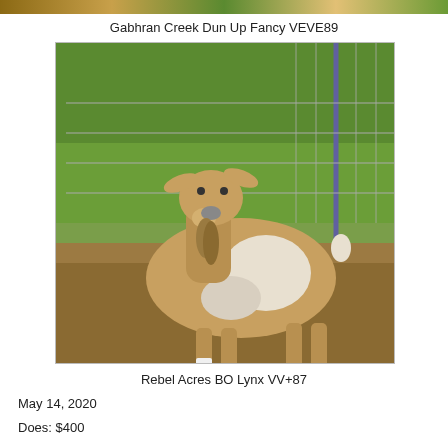[Figure (photo): Top strip banner image showing farm/nature landscape]
Gabhran Creek Dun Up Fancy VEVE89
[Figure (photo): Photograph of a brown and white Boer goat standing in a pen with dirt ground and wire fence in background]
Rebel Acres BO Lynx VV+87
May 14, 2020
Does: $400